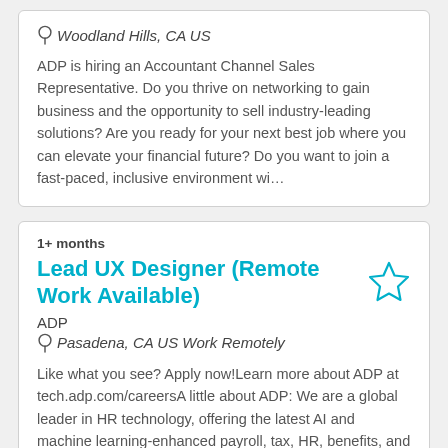Woodland Hills, CA US
ADP is hiring an Accountant Channel Sales Representative. Do you thrive on networking to gain business and the opportunity to sell industry-leading solutions? Are you ready for your next best job where you can elevate your financial future? Do you want to join a fast-paced, inclusive environment wi...
1+ months
Lead UX Designer (Remote Work Available)
ADP
Pasadena, CA US Work Remotely
Like what you see? Apply now!Learn more about ADP at tech.adp.com/careersA little about ADP: We are a global leader in HR technology, offering the latest AI and machine learning-enhanced payroll, tax, HR, benefits, and much more. We believe our people make all the difference in cultivating an inclus...